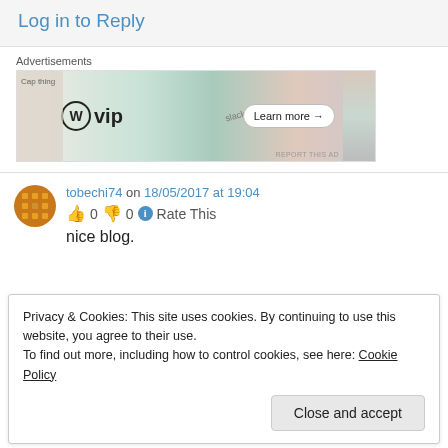Log in to Reply
[Figure (screenshot): WordPress VIP advertisement banner with logos and 'Learn more' button]
tobechi74 on 18/05/2017 at 19:04
👍 0 👎 0 ℹ Rate This
nice blog.
Privacy & Cookies: This site uses cookies. By continuing to use this website, you agree to their use.
To find out more, including how to control cookies, see here: Cookie Policy
Close and accept